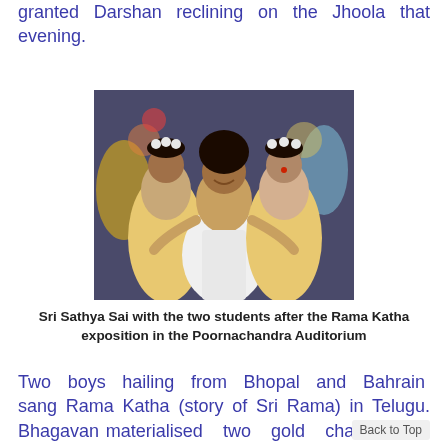granted Darshan reclining on the Jhoola that evening.
[Figure (photo): Sri Sathya Sai Baba posing with two young female students dressed in traditional attire with flowers in their hair, after the Rama Katha exposition in the Poornachandra Auditorium.]
Sri Sathya Sai with the two students after the Rama Katha exposition in the Poornachandra Auditorium
Two boys hailing from Bhopal and Bahrain sang Rama Katha (story of Sri Rama) in Telugu. Bhagavan materialised two gold chains for them.The celebrations concluded with Mangala Arati.